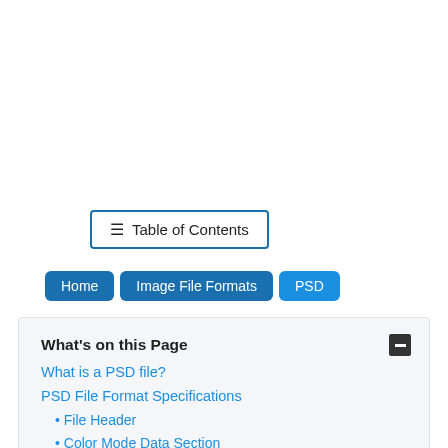[Figure (screenshot): Table of Contents button with hamburger icon and blue border]
Home
Image File Formats
PSD
What's on this Page
What is a PSD file?
PSD File Format Specifications
File Header
Color Mode Data Section
Image Resources Section
Layer and Mask Information
Image Data
References